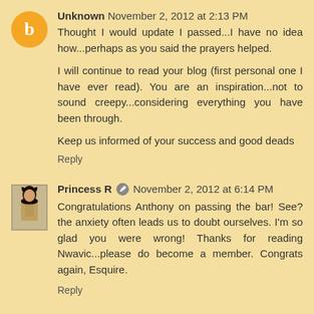Unknown  November 2, 2012 at 2:13 PM
Thought I would update I passed...I have no idea how...perhaps as you said the prayers helped.

I will continue to read your blog (first personal one I have ever read). You are an inspiration...not to sound creepy...considering everything you have been through.

Keep us informed of your success and good deads
Reply
Princess R  November 2, 2012 at 6:14 PM
Congratulations Anthony on passing the bar! See? the anxiety often leads us to doubt ourselves. I'm so glad you were wrong! Thanks for reading Nwavic...please do become a member. Congrats again, Esquire.
Reply